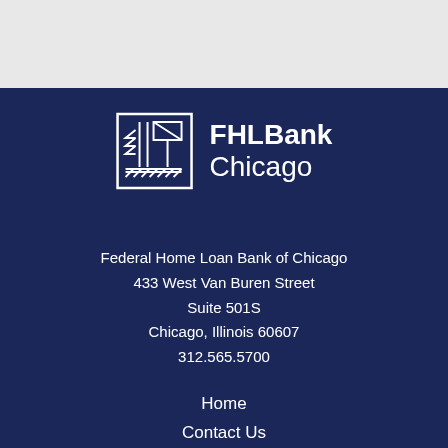[Figure (logo): FHLBank Chicago logo — a square geometric building/tree icon in white outline, followed by bold text 'FHLBank Chicago' in white on navy background]
Federal Home Loan Bank of Chicago
433 West Van Buren Street
Suite 501S
Chicago, Illinois 60607
312.565.5700
Home
Contact Us
Terms of Use